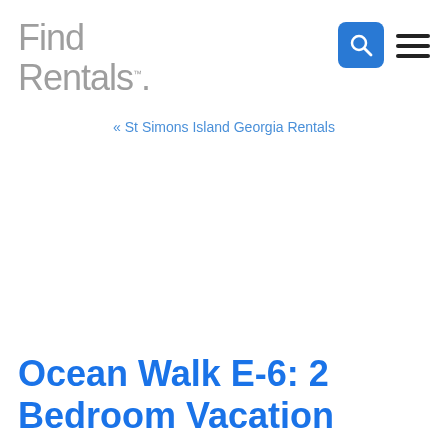Find Rentals.
« St Simons Island Georgia Rentals
Ocean Walk E-6: 2 Bedroom Vacation